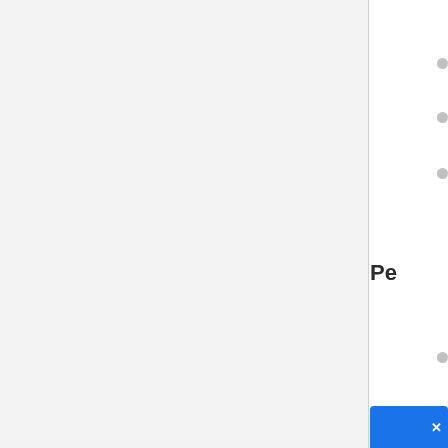[Figure (screenshot): Left panel: large light gray content area, approximately 368px wide, with a vertical right border. Right panel: navigation/sidebar showing bullet dots, section headers partially visible: 'Pe', 'We', 'Ho', and more bullet dots, with a blue button at the bottom right corner containing a white X.]
Pe
We
Ho